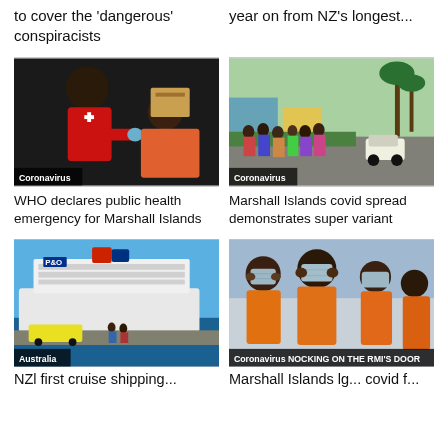to cover the 'dangerous' conspiracists
year on from NZ's longest...
[Figure (photo): Red Cross worker administering vaccine to a woman, with 'Coronavirus' tag]
WHO declares public health emergency for Marshall Islands
[Figure (photo): Crowd of people outside on a street, with 'Coronavirus' tag]
Marshall Islands covid spread demonstrates super variant
[Figure (photo): Large cruise ship docked, with 'Australia' tag]
NZl first cruise shipping...
[Figure (photo): Children wearing masks in orange shirts, with 'Coronavirus' and 'NOCKING ON THE RMI'S DOOR' overlay]
Marshall Islands lg... covid f...